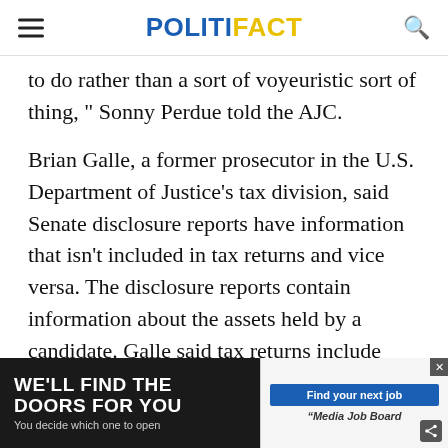POLITIFACT
to do rather than a sort of voyeuristic sort of thing, " Sonny Perdue told the AJC.
Brian Galle, a former prosecutor in the U.S. Department of Justice’s tax division, said Senate disclosure reports have information that isn’t included in tax returns and vice versa. The disclosure reports contain information about the assets held by a candidate. Galle said tax returns include potentially embarrassing information, such as whether the candidate has lo... — he and h...
[Figure (other): Advertisement banner: 'WE'LL FIND THE DOORS FOR YOU - You decide which one to open' on dark background, with 'Find your next job' button and 'Media Job Board' logo on the right.]